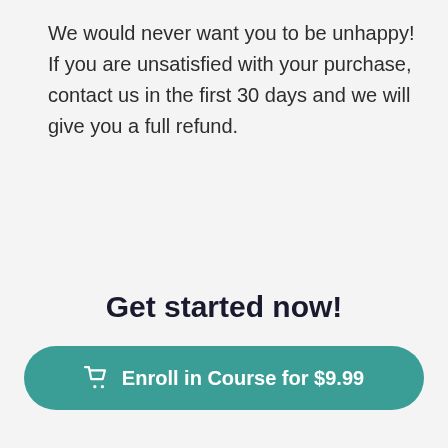We would never want you to be unhappy! If you are unsatisfied with your purchase, contact us in the first 30 days and we will give you a full refund.
Get started now!
Enroll in Course for $9.99